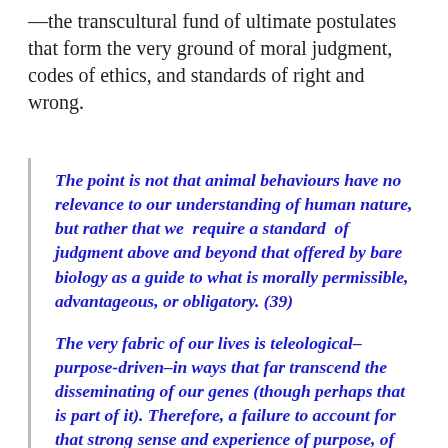—the transcultural fund of ultimate postulates that form the very ground of moral judgment, codes of ethics, and standards of right and wrong.
The point is not that animal behaviours have no relevance to our understanding of human nature, but rather that we require a standard of judgment above and beyond that offered by bare biology as a guide to what is morally permissible, advantageous, or obligatory. (39)
The very fabric of our lives is teleological–purpose-driven–in ways that far transcend the disseminating of our genes (though perhaps that is part of it). Therefore, a failure to account for that strong sense and experience of purpose, of goal-directedness, of moral worthwhileness, is a serious failure indeed. It points decisively to a limitation of science as naturalistically conceived and practical….So the inability of naturalistic science to